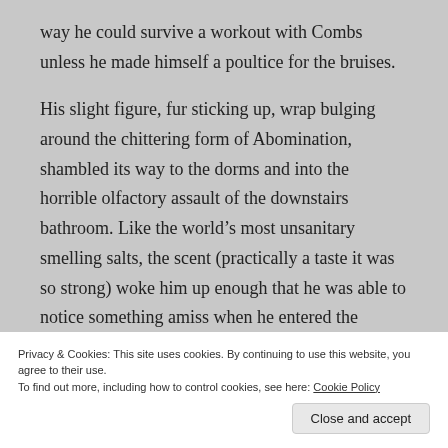way he could survive a workout with Combs unless he made himself a poultice for the bruises.
His slight figure, fur sticking up, wrap bulging around the chittering form of Abomination, shambled its way to the dorms and into the horrible olfactory assault of the downstairs bathroom. Like the world’s most unsanitary smelling salts, the scent (practically a taste it was so strong) woke him up enough that he was able to notice something amiss when he entered the hidden cavern.
Privacy & Cookies: This site uses cookies. By continuing to use this website, you agree to their use.
To find out more, including how to control cookies, see here: Cookie Policy
Close and accept